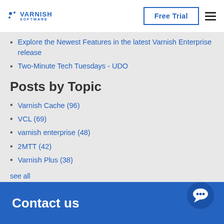Varnish Software — Free Trial
Explore the Newest Features in the latest Varnish Enterprise release
Two-Minute Tech Tuesdays - UDO
Posts by Topic
Varnish Cache (96)
VCL (69)
varnish enterprise (48)
2MTT (42)
Varnish Plus (38)
see all
Contact us